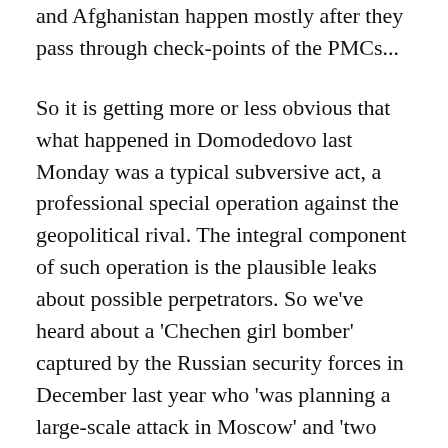and Afghanistan happen mostly after they pass through check-points of the PMCs...
So it is getting more or less obvious that what happened in Domodedovo last Monday was a typical subversive act, a professional special operation against the geopolitical rival. The integral component of such operation is the plausible leaks about possible perpetrators. So we've heard about a 'Chechen girl bomber' captured by the Russian security forces in December last year who 'was planning a large-scale attack in Moscow' and 'two Palestinians among the victims in Domodedovo'. It very much resembles the story about a Quran and a Pilotage Guidelines left at the back seat of a car used by 9/11 hijackers.
I deliberately will not suggest any specific subversive agency that might operate in Russia and commit this